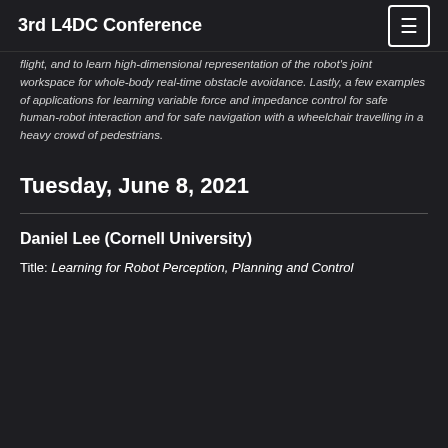3rd L4DC Conference
flight, and to learn high-dimensional representation of the robot's joint workspace for whole-body real-time obstacle avoidance. Lastly, a few examples of applications for learning variable force and impedance control for safe human-robot interaction and for safe navigation with a wheelchair travelling in a heavy crowd of pedestrians.
Tuesday, June 8, 2021
Daniel Lee (Cornell University)
Title: Learning for Robot Perception, Planning and Control